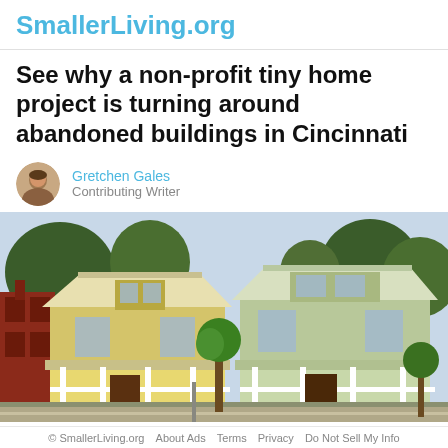SmallerLiving.org
See why a non-profit tiny home project is turning around abandoned buildings in Cincinnati
Gretchen Gales
Contributing Writer
[Figure (photo): Two renovated two-story homes side by side on a Cincinnati street — one yellow, one light green — with white porches, trees, and a red brick building partially visible on the left.]
© SmallerLiving.org   About Ads   Terms   Privacy   Do Not Sell My Info